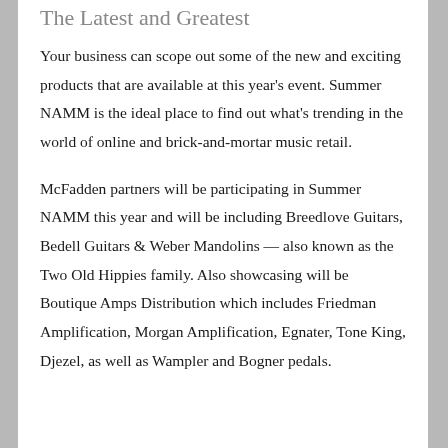The Latest and Greatest
Your business can scope out some of the new and exciting products that are available at this year's event. Summer NAMM is the ideal place to find out what's trending in the world of online and brick-and-mortar music retail.
McFadden partners will be participating in Summer NAMM this year and will be including Breedlove Guitars, Bedell Guitars & Weber Mandolins — also known as the Two Old Hippies family. Also showcasing will be Boutique Amps Distribution which includes Friedman Amplification, Morgan Amplification, Egnater, Tone King, Djezel, as well as Wampler and Bogner pedals.